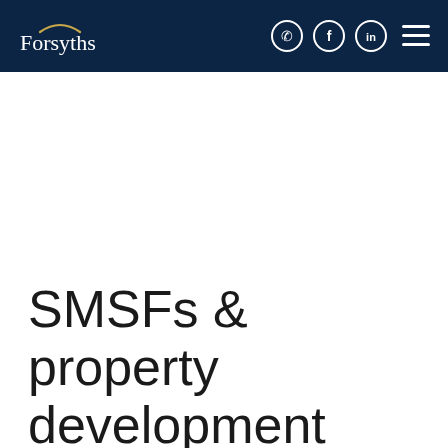Forsyths
SMSFs & property development Emerging risks